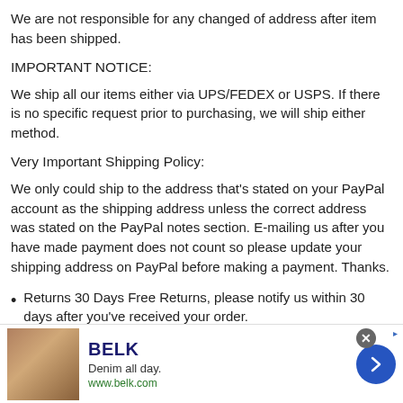We are not responsible for any changed of address after item has been shipped.
IMPORTANT NOTICE:
We ship all our items either via UPS/FEDEX or USPS. If there is no specific request prior to purchasing, we will ship either method.
Very Important Shipping Policy:
We only could ship to the address that's stated on your PayPal account as the shipping address unless the correct address was stated on the PayPal notes section. E-mailing us after you have made payment does not count so please update your shipping address on PayPal before making a payment. Thanks.
Returns 30 Days Free Returns, please notify us within 30 days after you've received your order.
[Figure (infographic): Advertisement banner for BELK — 'Denim all day. www.belk.com' with a photo of denim-dressed models, a blue arrow button, a close X button, and a sponsor icon.]